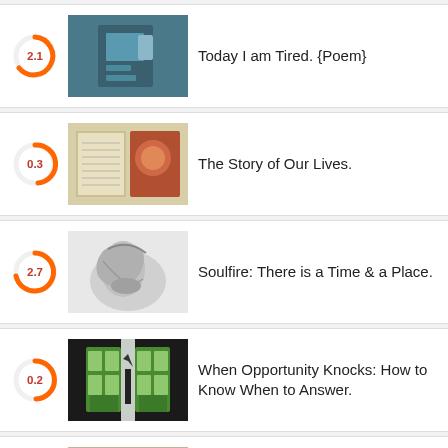Today I am Tired. {Poem}
The Story of Our Lives.
Soulfire: There is a Time & a Place.
When Opportunity Knocks: How to Know When to Answer.
We All Fall Down: How to Maintain